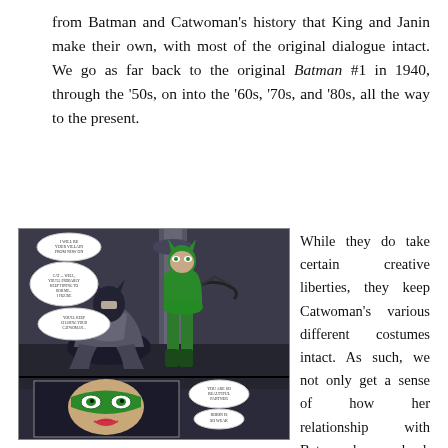from Batman and Catwoman's history that King and Janin make their own, with most of the original dialogue intact. We go as far back to the original Batman #1 in 1940, through the '50s, on into the '60s, '70s, and '80s, all the way to the present.
[Figure (illustration): Comic book panel showing Batman seated on the ground looking up at Catwoman in a green costume standing above him, with a smaller inset panel below showing a close-up of Catwoman's face with a green mask.]
While they do take certain creative liberties, they keep Catwoman's various different costumes intact. As such, we not only get a sense of how her relationship with Batman has evolved, but how her Catwoman persona has evolved